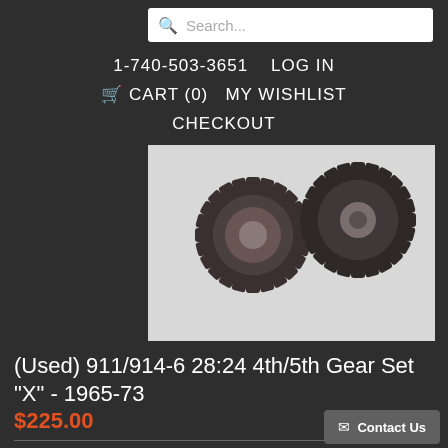Search...
1-740-503-3651   LOG IN
🛒 CART (0)   MY WISHLIST
CHECKOUT
[Figure (photo): Photo of two metal gear cogs side by side on a light background]
(Used) 911/914-6 28:24 4th/5th Gear Set "X" - 1965-73
$225.00
[Figure (photo): Partial product image at bottom of page]
Contact Us